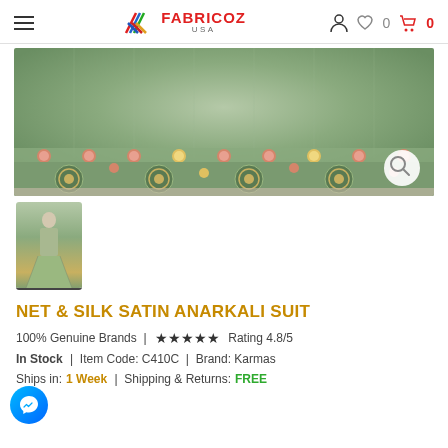FABRICOZ USA — navigation header with hamburger menu, logo, user icon, wishlist 0, cart 0
[Figure (photo): Close-up of green net and silk satin anarkali suit hem showing floral embroidery with pink and gold embellishments on sage green fabric, displayed spread out on a surface]
[Figure (photo): Thumbnail of full-length green anarkali suit worn by model]
NET & SILK SATIN ANARKALI SUIT
100% Genuine Brands  |  ★★★★★  Rating 4.8/5
In Stock  |  Item Code: C410C  |  Brand: Karmas
Ships in: 1 Week  |  Shipping & Returns: FREE